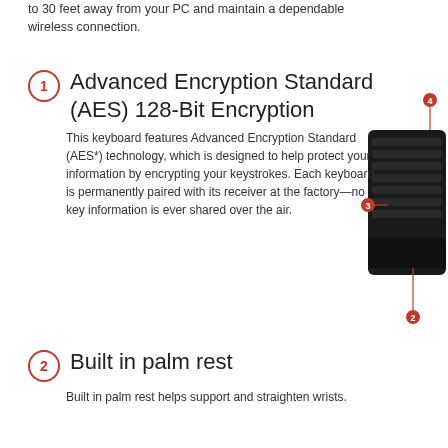to 30 feet away from your PC and maintain a dependable wireless connection.
Advanced Encryption Standard (AES) 128-Bit Encryption
This keyboard features Advanced Encryption Standard (AES*) technology, which is designed to help protect your information by encrypting your keystrokes. Each keyboard is permanently paired with its receiver at the factory—no key information is ever shared over the air.
[Figure (photo): A dark wireless keyboard with numbered callout indicators (3 and 4) pointing to specific parts of the keyboard.]
Built in palm rest
Built in palm rest helps support and straighten wrists.